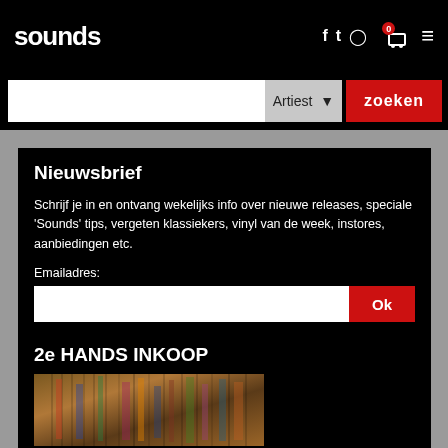sounds
Artiest  zoeken
Nieuwsbrief
Schrijf je in en ontvang wekelijks info over nieuwe releases, speciale 'Sounds' tips, vergeten klassiekers, vinyl van de week, instores, aanbiedingen etc.
Emailadres:
2e HANDS INKOOP
[Figure (photo): Stacks of vinyl records in a record store.]